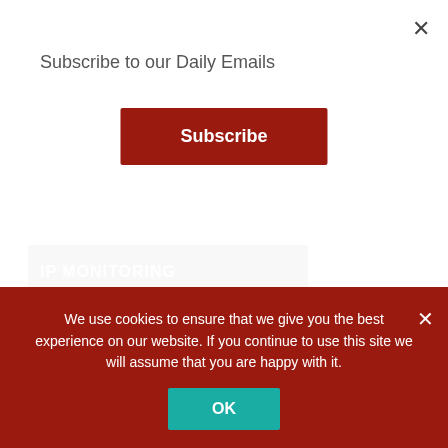Subscribe to our Daily Emails
[Figure (screenshot): Red subscribe button with white text 'Subscribe']
[Figure (photo): Dark banner image with 'IP MONITORING' text in white and a blue 'GET THE GUIDE' button]
eBook: The Full Guide to IP Monitoring
IP is the future of your facility, if not already your everyday reality. It enables incredible agility and cost savings, but also introduces a new set of challenges.
We use cookies to ensure that we give you the best experience on our website. If you continue to use this site we will assume that you are happy with it.